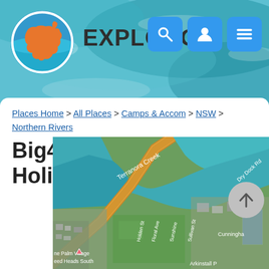[Figure (logo): ExploreOZ logo: circular badge with orange Australia map shape and blue/teal wave background]
EXPLOROZ
Places Home > All Places > Camps & Accom > NSW > Northern Rivers
Big4 Tweed Billabong Holiday Park - NSW
[Figure (map): Aerial/satellite map view showing Terranora Creek area near Tweed Heads South, NSW, with roads including Dry Dock Rd, Holden St, Floral Ave, Sunshine St, Sullivan St, Cunningham area, Palm Village Tweed Heads South, and Arkinstall Park visible.]